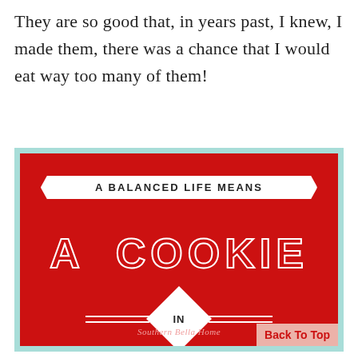They are so good that, in years past, I knew, I made them, there was a chance that I would eat way too many of them!
[Figure (infographic): Red rectangular sign with light teal border. White banner ribbon at top reads 'A BALANCED LIFE MEANS'. Large hollow white outlined text reads 'A COOKIE'. Center has a white diamond shape with 'IN' inside, flanked by double horizontal white lines. Below reads 'EACH HAND!' in hollow white outlined text. Bottom center shows 'Southern Bella Home' in italic pink text. Bottom right has a 'Back To Top' button.]